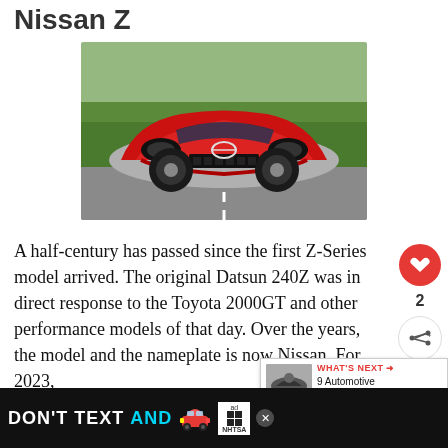Nissan Z
[Figure (photo): Front view of a red Nissan Z sports car on a road with green fields in the background]
A half-century has passed since the first Z-Series model arrived. The original Datsun 240Z was in direct response to the Toyota 2000GT and other performance models of that day. Over the years, the model and the nameplate is now Nissan. For 2023,
[Figure (infographic): WHAT'S NEXT arrow widget showing '9 Automotive Trends For...' with a thumbnail of a futuristic car]
[Figure (infographic): Ad banner: DON'T TEXT AND with emoji car, ad badge and NHTSA logo]